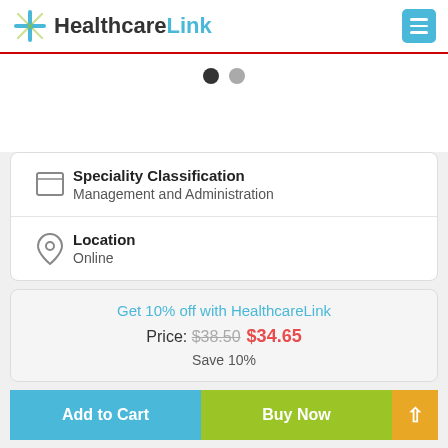[Figure (logo): HealthcareLink logo with medical cross icon and hamburger menu button]
[Figure (infographic): Two pagination dots, one filled black and one gray]
Speciality Classification
Management and Administration
Location
Online
Get 10% off with HealthcareLink
Price: $38.50 $34.65
Save 10%
Add to Cart
Buy Now